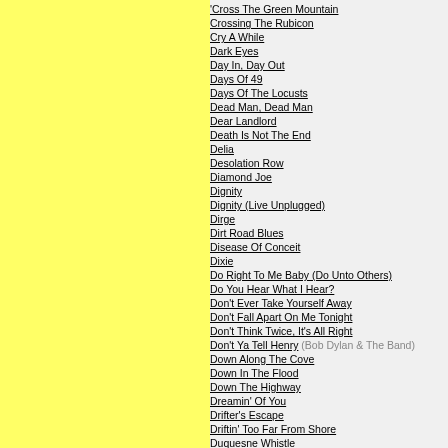'Cross The Green Mountain
Crossing The Rubicon
Cry A While
Dark Eyes
Day In, Day Out
Days Of 49
Days Of The Locusts
Dead Man, Dead Man
Dear Landlord
Death Is Not The End
Delia
Desolation Row
Diamond Joe
Dignity
Dignity (Live Unplugged)
Dirge
Dirt Road Blues
Disease Of Conceit
Dixie
Do Right To Me Baby (Do Unto Others)
Do You Hear What I Hear?
Don't Ever Take Yourself Away
Don't Fall Apart On Me Tonight
Don't Think Twice, It's All Right
Don't Ya Tell Henry (Bob Dylan & The Band)
Down Along The Cove
Down In The Flood
Down The Highway
Dreamin' Of You
Drifter's Escape
Driftin' Too Far From Shore
Duquesne Whistle
Early Mornin' Rain
Early Roman Kings
Emotionally Yours
Eternal Circle
Every Grain Of Sand
Everything Is Broken